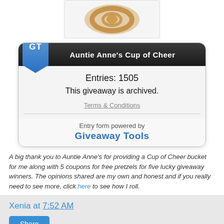[Figure (photo): Partial image of a pretzel on white background inside a light gray bordered box]
[Figure (screenshot): Giveaway Tools widget for Auntie Anne's Cup of Cheer showing 1505 entries, archived status, terms and conditions link, and Giveaway Tools branding]
A big thank you to Auntie Anne's for providing a Cup of Cheer bucket for me along with 5 coupons for free pretzels for five lucky giveaway winners. The opinions shared are my own and honest and if you really need to see more, click here to see how I roll.
Xenia at 7:52 AM
Share